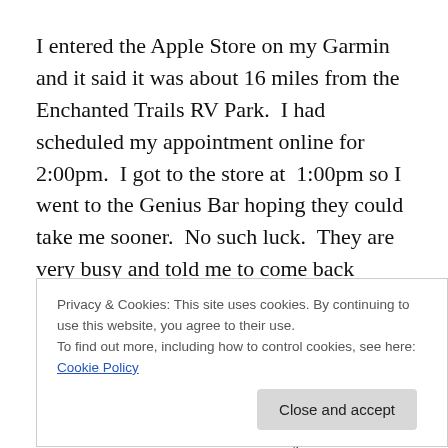I entered the Apple Store on my Garmin and it said it was about 16 miles from the Enchanted Trails RV Park.  I had scheduled my appointment online for 2:00pm.  I got to the store at  1:00pm so I went to the Genius Bar hoping they could take me sooner.  No such luck.  They are very busy and told me to come back closer to the time I had scheduled.
The Apple Store is located in a very high class shopping area know as Uptown.  Lots of very expensive stores.  I
Privacy & Cookies: This site uses cookies. By continuing to use this website, you agree to their use.
To find out more, including how to control cookies, see here: Cookie Policy
walked to the back where they checked me in and then